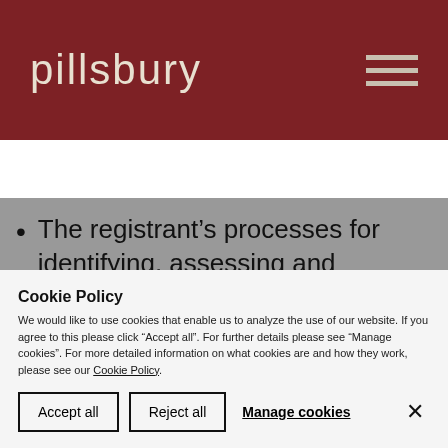pillsbury
[Figure (other): Search icon (magnifying glass)]
The registrant’s processes for identifying, assessing and managing climate-related risks, and whether any such processes are integrated into the registrant’s overall risk management system or processes;
Cookie Policy
We would like to use cookies that enable us to analyze the use of our website. If you agree to this please click “Accept all”. For further details please see “Manage cookies”. For more detailed information on what cookies are and how they work, please see our Cookie Policy.
Accept all | Reject all | Manage cookies